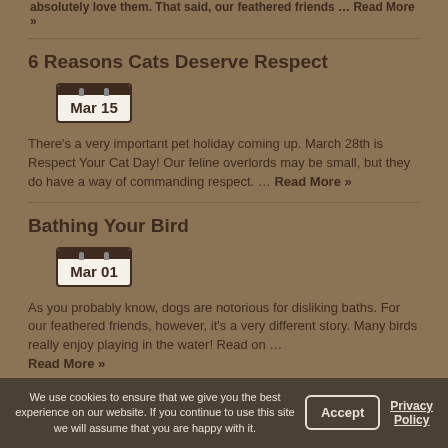absolutely love them. That said, our feathered friends … Read More »
6 Reasons Cats Deserve Respect
[Figure (other): Calendar widget showing Mar 15]
There's a very important pet holiday coming up. March 28th is Respect Your Cat Day! Our feline overlords may be small, but they do have a way of commanding respect. … Read More »
Bathing Your Bird
[Figure (other): Calendar widget showing Mar 01]
As you probably know, dogs are notorious for disliking baths. For our feathered friends, however, it's a very different story. Many birds really enjoy playing in the water! Read on … Read More »
We use cookies to ensure that we give you the best experience on our website. If you continue to use this site we will assume that you are happy with it.